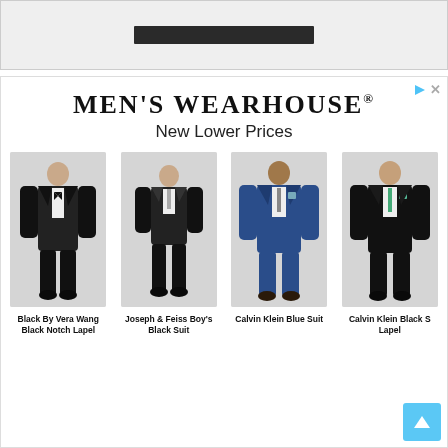[Figure (screenshot): Top banner area with dark text/logo bar on gray background]
MEN'S WEARHOUSE®
New Lower Prices
[Figure (photo): Black By Vera Wang Black Notch Lapel - man in black tuxedo]
[Figure (photo): Joseph & Feiss Boy's Black Suit - boy in black suit]
[Figure (photo): Calvin Klein Blue Suit - man in blue suit]
[Figure (photo): Calvin Klein Black S... Lapel - man in black suit (partially cropped)]
Black By Vera Wang Black Notch Lapel
Joseph & Feiss Boy's Black Suit
Calvin Klein Blue Suit
Calvin Klein Black S Lapel